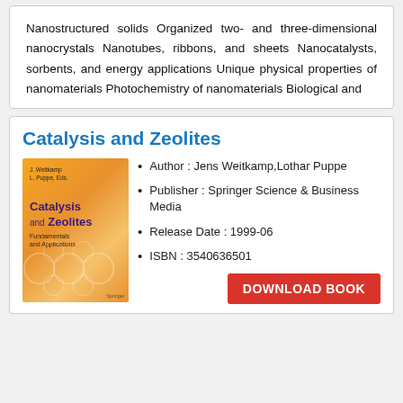Nanostructured solids Organized two- and three-dimensional nanocrystals Nanotubes, ribbons, and sheets Nanocatalysts, sorbents, and energy applications Unique physical properties of nanomaterials Photochemistry of nanomaterials Biological and
Catalysis and Zeolites
[Figure (photo): Book cover of 'Catalysis and Zeolites: Fundamentals and Applications' edited by J. Weitkamp and L. Puppe, published by Springer. Orange/yellow gradient cover with zeolite structure pattern and title in purple.]
Author : Jens Weitkamp,Lothar Puppe
Publisher : Springer Science & Business Media
Release Date : 1999-06
ISBN : 3540636501